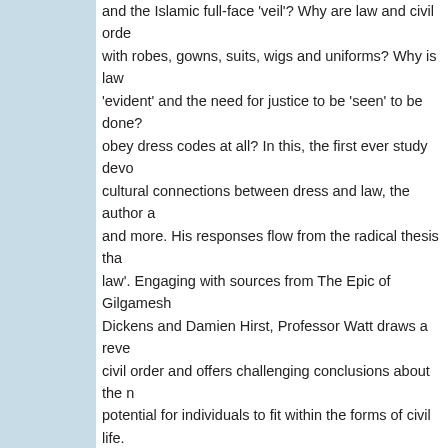and the Islamic full-face 'veil'? Why are law and civil order concerned with robes, gowns, suits, wigs and uniforms? Why is law so 'evident' and the need for justice to be 'seen' to be done? Why obey dress codes at all? In this, the first ever study devoted to cultural connections between dress and law, the author addresses these and more. His responses flow from the radical thesis that 'dress is law'. Engaging with sources from The Epic of Gilgamesh, through Dickens and Damien Hirst, Professor Watt draws a revealing portrait of civil order and offers challenging conclusions about the nature and potential for individuals to fit within the forms of civil life.
The lecture will mark the recent publication of Gary Watt's Dress, Law and Naked Truth: A Cultural Study of Fashion and Form (London, Bloomsbury Academic). For more information, please contact Diane Shah at dda4@duke.edu or stefanie.kandzia@law.duke.edu
Posted by Dan Ernst at 1:00 PM  Labels: Lectures Workshops and Announcements
MLK's Speechwriter: "She was angry... began to be angry at Martin King"
Clarence Jones (Stanford--MLK Institute), the lawyer and speechwriter